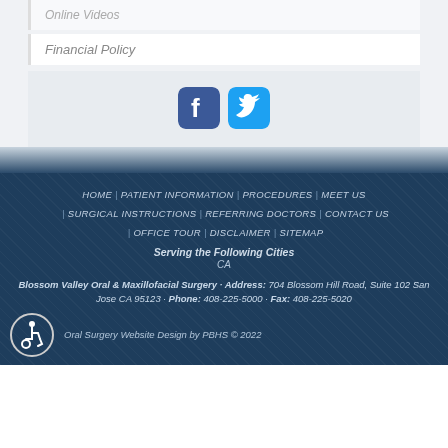Online Videos
Financial Policy
[Figure (logo): Facebook and Twitter social media icons]
HOME | PATIENT INFORMATION | PROCEDURES | MEET US | SURGICAL INSTRUCTIONS | REFERRING DOCTORS | CONTACT US | OFFICE TOUR | DISCLAIMER | SITEMAP
Serving the Following Cities
CA
Blossom Valley Oral & Maxillofacial Surgery · Address: 704 Blossom Hill Road, Suite 102 San Jose CA 95123 · Phone: 408-225-5000 · Fax: 408-225-5020
Oral Surgery Website Design by PBHS © 2022